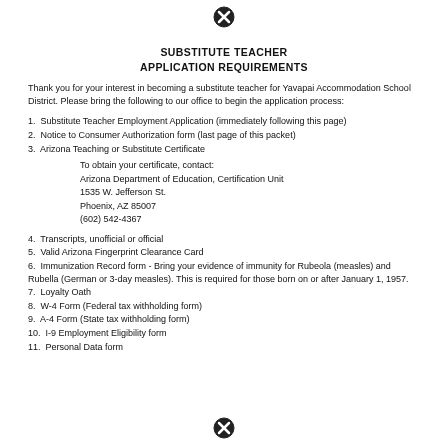[Figure (other): Close/cancel icon (circle with X) at top center of page]
SUBSTITUTE TEACHER
APPLICATION REQUIREMENTS
Thank you for your interest in becoming a substitute teacher for Yavapai Accommodation School District. Please bring the following to our office to begin the application process:
1. Substitute Teacher Employment Application (immediately following this page)
2. Notice to Consumer Authorization form (last page of this packet)
3. Arizona Teaching or Substitute Certificate
To obtain your certificate, contact:
Arizona Department of Education, Certification Unit
1535 W. Jefferson St.
Phoenix, AZ 85007
(602) 542-4367
4. Transcripts, unofficial or official
5. Valid Arizona Fingerprint Clearance Card
6. Immunization Record form - Bring your evidence of immunity for Rubeola (measles) and Rubella (German or 3-day measles). This is required for those born on or after January 1, 1957.
7. Loyalty Oath
8. W-4 Form (Federal tax withholding form)
9. A-4 Form (State tax withholding form)
10. I-9 Employment Eligibility form
11. Personal Data form
[Figure (other): Close/cancel icon (circle with X) at bottom center of page]